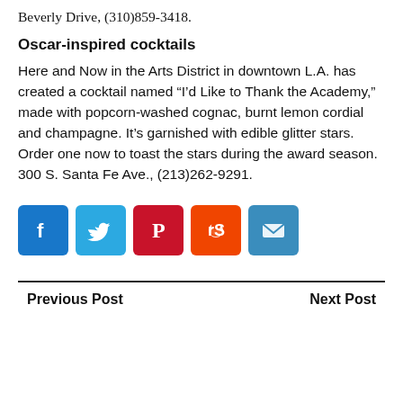Beverly Drive, (310)859-3418.
Oscar-inspired cocktails
Here and Now in the Arts District in downtown L.A. has created a cocktail named “I’d Like to Thank the Academy,” made with popcorn-washed cognac, burnt lemon cordial and champagne. It’s garnished with edible glitter stars. Order one now to toast the stars during the award season. 300 S. Santa Fe Ave., (213)262-9291.
[Figure (infographic): Five social media share buttons: Facebook (blue), Twitter (light blue), Pinterest (red), Reddit (orange), Email (blue)]
Previous Post   Next Post